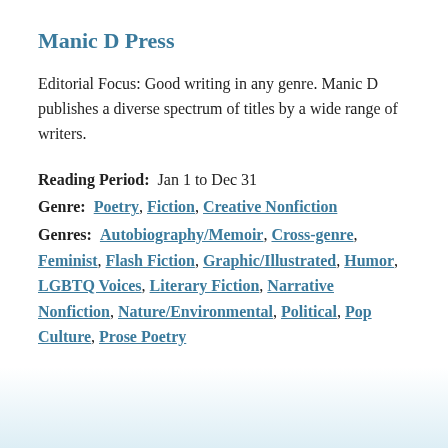Manic D Press
Editorial Focus: Good writing in any genre. Manic D publishes a diverse spectrum of titles by a wide range of writers.
Reading Period:  Jan 1 to Dec 31
Genre:  Poetry, Fiction, Creative Nonfiction
Genres:  Autobiography/Memoir, Cross-genre, Feminist, Flash Fiction, Graphic/Illustrated, Humor, LGBTQ Voices, Literary Fiction, Narrative Nonfiction, Nature/Environmental, Political, Pop Culture, Prose Poetry